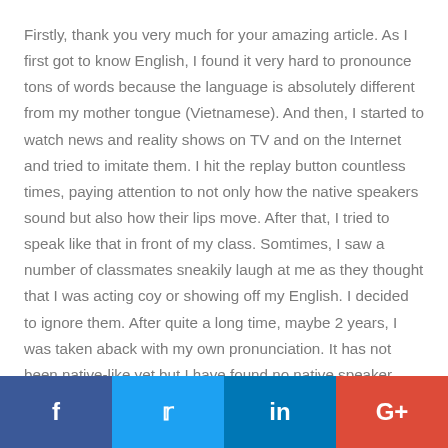Firstly, thank you very much for your amazing article. As I first got to know English, I found it very hard to pronounce tons of words because the language is absolutely different from my mother tongue (Vietnamese). And then, I started to watch news and reality shows on TV and on the Internet and tried to imitate them. I hit the replay button countless times, paying attention to not only how the native speakers sound but also how their lips move. After that, I tried to speak like that in front of my class. Somtimes, I saw a number of classmates sneakily laugh at me as they thought that I was acting coy or showing off my English. I decided to ignore them. After quite a long time, maybe 2 years, I was taken aback with my own pronunciation. It has not been native-like yet but I have found no native speaker having difficulty understanding me. I am becoming
f  in  G+